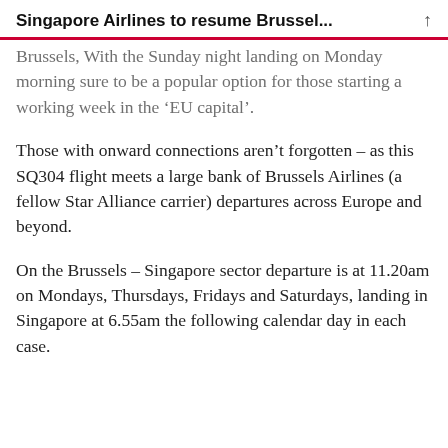Singapore Airlines to resume Brussel...
Brussels, With the Sunday night landing on Monday morning sure to be a popular option for those starting a working week in the ‘EU capital’.
Those with onward connections aren’t forgotten – as this SQ304 flight meets a large bank of Brussels Airlines (a fellow Star Alliance carrier) departures across Europe and beyond.
On the Brussels – Singapore sector departure is at 11.20am on Mondays, Thursdays, Fridays and Saturdays, landing in Singapore at 6.55am the following calendar day in each case.